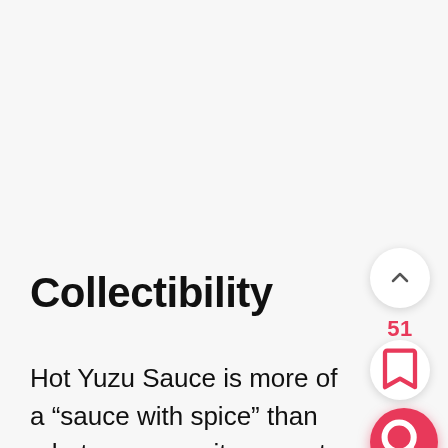Collectibility
Hot Yuzu Sauce is more of a “sauce with spice” than a hot sauce, so it may not be the first thing a collector leans towards. But don’t overlook it. The flavor here is unique — it’s not for everyone, but it’s a